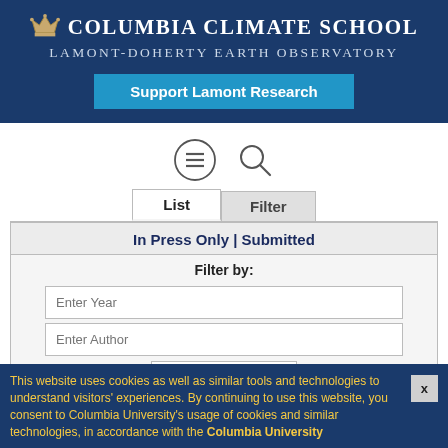Columbia Climate School Lamont-Doherty Earth Observatory
Support Lamont Research
[Figure (screenshot): Navigation menu icon (hamburger) and search icon]
List | Filter (tabs)
In Press Only | Submitted
Filter by:
Enter Year
Enter Author
Select Type
Filter
Sort by Year | Title | Authors | Type
This website uses cookies as well as similar tools and technologies to understand visitors' experiences. By continuing to use this website, you consent to Columbia University's usage of cookies and similar technologies, in accordance with the Columbia University